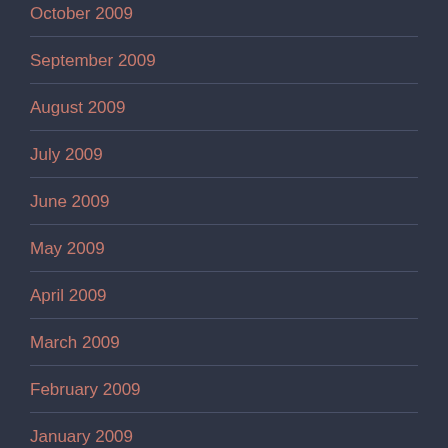October 2009
September 2009
August 2009
July 2009
June 2009
May 2009
April 2009
March 2009
February 2009
January 2009
December 2008
November 2008